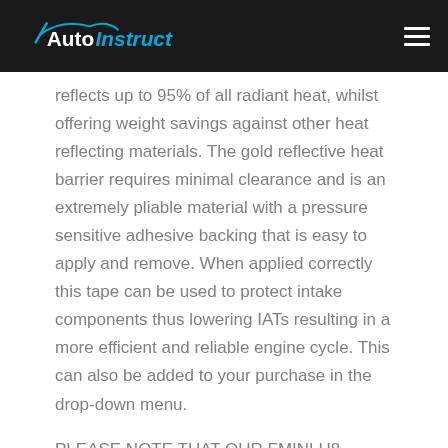AutoInstruct
reflects up to 95% of all radiant heat, whilst offering weight savings against other heat reflecting materials. The gold reflective heat barrier requires minimal clearance and is an extremely pliable material with a pressure sensitive adhesive backing that is easy to apply and remove. When applied correctly this tape can be used to protect intake components thus lowering IATs resulting in a more efficient and reliable engine cycle. This can also be added to your purchase in the drop-down menu.
PLEASE NOTE THAT OUR FMINLH8 (HIGHFLOW 3.5″ INLET PIPE) WILL NEED TO BE USED WITH THE TURBO ELBOW AND WE CAN NOT GUARANTEE IT